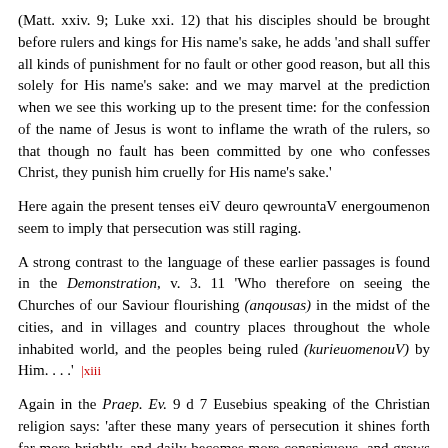(Matt. xxiv. 9; Luke xxi. 12) that his disciples should be brought before rulers and kings for His name's sake, he adds 'and shall suffer all kinds of punishment for no fault or other good reason, but all this solely for His name's sake: and we may marvel at the prediction when we see this working up to the present time: for the confession of the name of Jesus is wont to inflame the wrath of the rulers, so that though no fault has been committed by one who confesses Christ, they punish him cruelly for His name's sake.'
Here again the present tenses eiV deuro qewrountaV energoumenon seem to imply that persecution was still raging.
A strong contrast to the language of these earlier passages is found in the Demonstration, v. 3. 11 'Who therefore on seeing the Churches of our Saviour flourishing (anqousas) in the midst of the cities, and in villages and country places throughout the whole inhabited world, and the peoples being ruled (kurieuomenouV) by Him. . . .'  |xiii
Again in the Praep. Ev. 9 d 7 Eusebius speaking of the Christian religion says: 'after these many years of persecution it shines forth far more brightly, and daily becomes more conspicuous, and grows and multiplies more and more.'
From such a description it is evident that a great change had